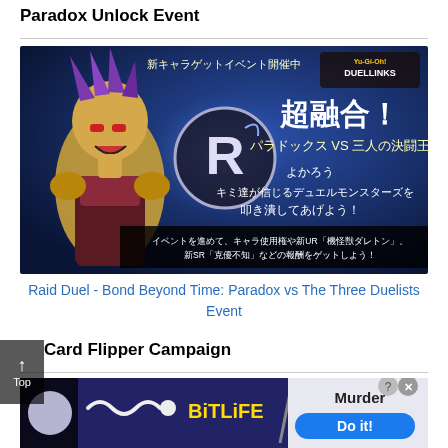Paradox Unlock Event
[Figure (screenshot): Promotional image for Yu-Gi-Oh! Duel Links 'Raid Duel - Bond Beyond Time: Paradox vs The Three Duelists' event. Shows anime character Paradox with Japanese text on a blue background with the R-Ride/Duel logo.]
Raid Duel - Bond Beyond Time: Paradox vs The Three Duelists Event
Card Flipper Campaign
[Figure (screenshot): Advertisement banner showing BitLife game logo and a 'Murder Do it!' prompt with a help/close button overlay.]